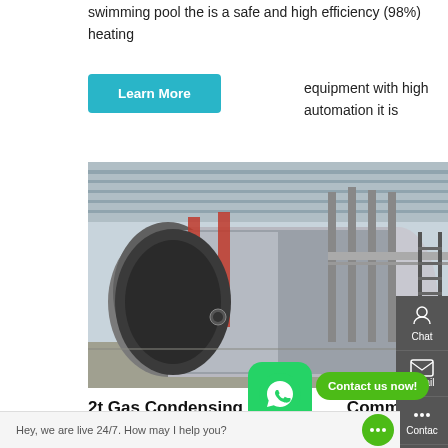swimming pool the is a safe and high efficiency (98%) heating equipment with high automation it is
[Figure (other): Button labeled 'Learn More' in teal/cyan color]
[Figure (photo): Industrial boiler facility interior showing large horizontal cylindrical gas condensing boiler with silver metallic finish, red pipes overhead, and industrial building structure]
2t Gas Condensing Boiler Price Commercial Tajikistan
Industrial Agent 20t Gas Hot Water Boiler Tajikistan. Supplier Industrial 2t Natural Gas fired Boiler Agent: Industrial Gas fired Boiler Manufacturer Natural Gas Hot Water Boiler 0
[Figure (other): WhatsApp contact button with green background and WhatsApp logo icon]
[Figure (other): Contact us now! green bubble button]
Hey, we are live 24/7. How may I help you?